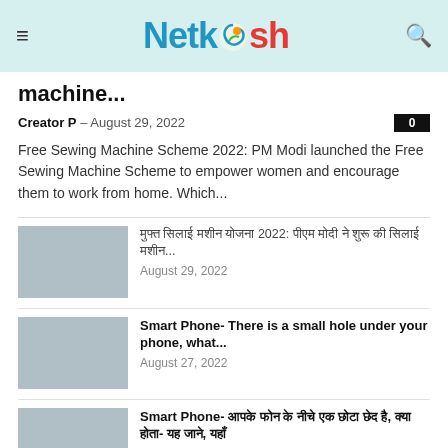Netkosh
machine...
Creator P – August 29, 2022
Free Sewing Machine Scheme 2022: PM Modi launched the Free Sewing Machine Scheme to empower women and encourage them to work from home. Which...
मुफ्त सिलाई मशीन योजना 2022: पीएम मोदी ने शुरू की सिलाई मशीन...
August 29, 2022
Smart Phone- There is a small hole under your phone, what...
August 27, 2022
Smart Phone- आपके फोन के नीचे एक छोटा छेद है, क्या होता- यह जाने, यहाँ